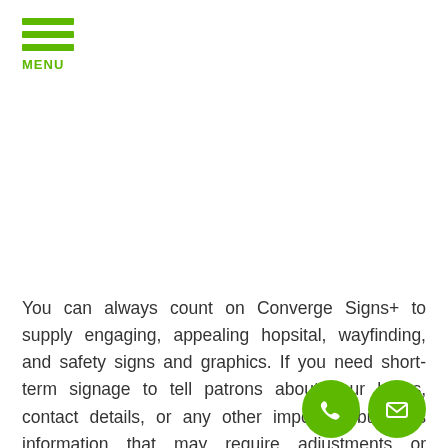[Figure (logo): Green hamburger menu icon with three horizontal green bars and 'MENU' label in green text]
You can always count on Converge Signs+ to supply engaging, appealing hopsital, wayfinding, and safety signs and graphics. If you need short-term signage to tell patrons about your hours, contact details, or any other important business information that may require adjustments or modifications in response to Covid-19 in any way or are utilizing the quiet to arrange for important needs signs
[Figure (infographic): Two circular green contact icons: a phone icon and an envelope/mail icon]